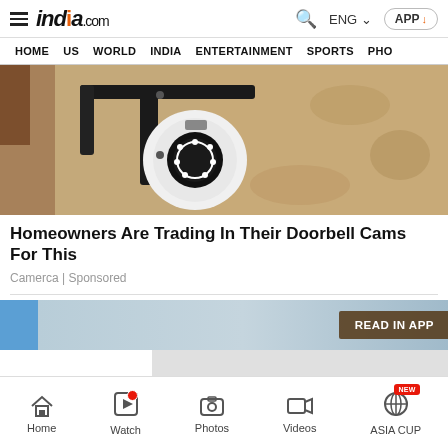india.com — HOME | US | WORLD | INDIA | ENTERTAINMENT | SPORTS | PHO
[Figure (photo): Security camera mounted on a wall bracket on a textured stone/concrete wall]
Homeowners Are Trading In Their Doorbell Cams For This
Camerca | Sponsored
[Figure (screenshot): READ IN APP banner with blue and beige tones]
Home | Watch | Photos | Videos | ASIA CUP